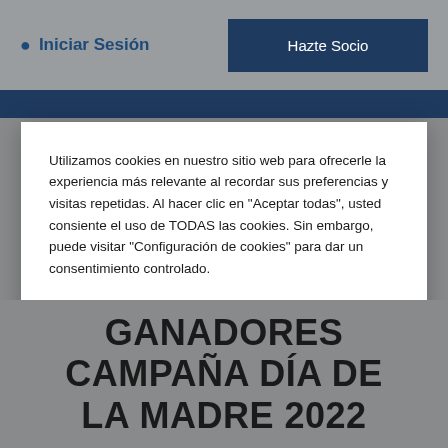Iniciar Sesión   Hazte Socio
Utilizamos cookies en nuestro sitio web para ofrecerle la experiencia más relevante al recordar sus preferencias y visitas repetidas. Al hacer clic en "Aceptar todas", usted consiente el uso de TODAS las cookies. Sin embargo, puede visitar "Configuración de cookies" para dar un consentimiento controlado.
Ajustes de Cookie   Aceptar Todas
GANADORES CAMPAÑA DÍA DE LA MADRE 2022